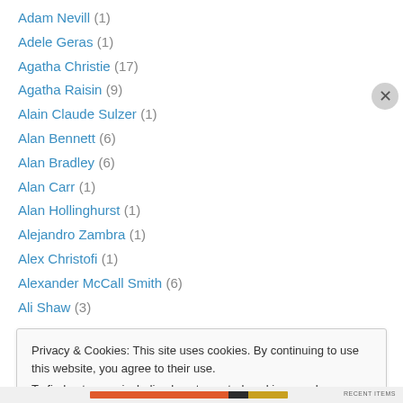Adam Nevill (1)
Adele Geras (1)
Agatha Christie (17)
Agatha Raisin (9)
Alain Claude Sulzer (1)
Alan Bennett (6)
Alan Bradley (6)
Alan Carr (1)
Alan Hollinghurst (1)
Alejandro Zambra (1)
Alex Christofi (1)
Alexander McCall Smith (6)
Ali Shaw (3)
Privacy & Cookies: This site uses cookies. By continuing to use this website, you agree to their use. To find out more, including how to control cookies, see here: Cookie Policy
Close and accept